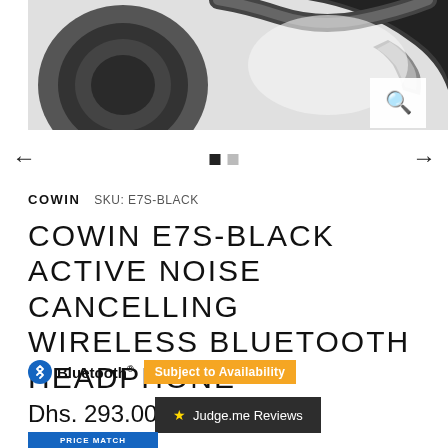[Figure (photo): Close-up black and white photo of Cowin E7S wireless Bluetooth headphone showing ear cup and headband details]
← →
COWIN   SKU: E7S-BLACK
COWIN E7S-BLACK ACTIVE NOISE CANCELLING WIRELESS BLUETOOTH HEADPHONE
Bluetooth® Subject to Availability
Dhs. 293.00
★ Judge.me Reviews
PRICE MATCH